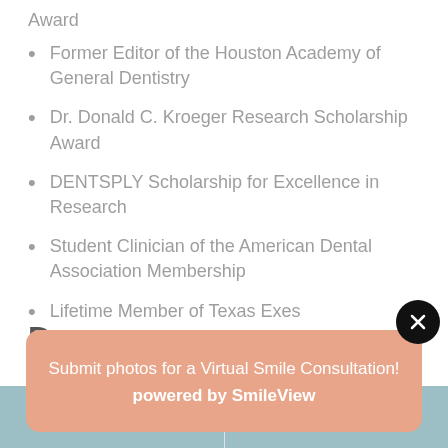Award
Former Editor of the Houston Academy of General Dentistry
Dr. Donald C. Kroeger Research Scholarship Award
DENTSPLY Scholarship for Excellence in Research
Student Clinician of the American Dental Association Membership
Lifetime Member of Texas Exes
De…p
Submit photos for a Virtual Smile Consultation!
powered by SmileView
Call Now  Book Now